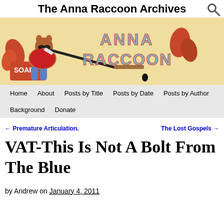The Anna Raccoon Archives
[Figure (illustration): Anna Raccoon blog header illustration: a cartoon raccoon in a red jacket sitting on a soap box, writing with a large quill pen, with large styled text 'ANNA RACCOON' in the background. A search icon (magnifying glass) appears in the top right corner.]
Home | About | Posts by Title | Posts by Date | Posts by Author | Background | Donate
← Premature Articulation.    The Lost Gospels →
VAT-This Is Not A Bolt From The Blue
by Andrew on January 4, 2011